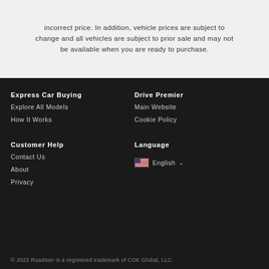incorrect price. In addition, vehicle prices are subject to change and all vehicles are subject to prior sale and may not be available when you are ready to purchase.
Express Car Buying
Explore All Models
How It Works
Drive Premier
Main Website
Cookie Policy
Customer Help
Contact Us
About
Privacy
Language
English
© 2022 Roadster is a registered trademark of CDK Global, LLC.